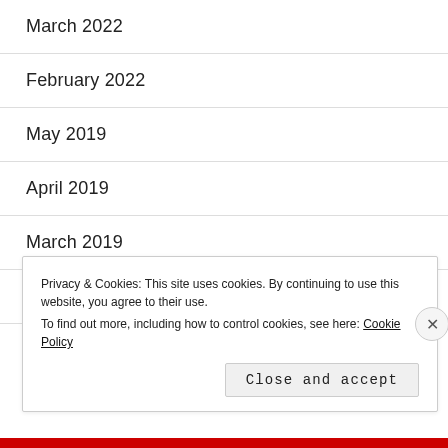March 2022
February 2022
May 2019
April 2019
March 2019
February 2019
Privacy & Cookies: This site uses cookies. By continuing to use this website, you agree to their use.
To find out more, including how to control cookies, see here: Cookie Policy
Close and accept